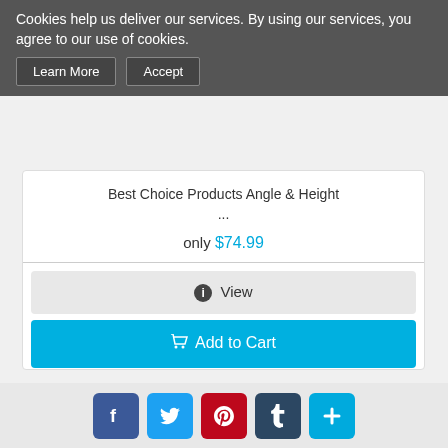Cookies help us deliver our services. By using our services, you agree to our use of cookies.
Learn More | Accept
Best Choice Products Angle & Height ...
only $74.99
View
Add to Cart
[Figure (photo): HP mini desktop PC, small black rectangular form factor with vents and ports]
Facebook, Twitter, Pinterest, Tumblr, Share social media icons